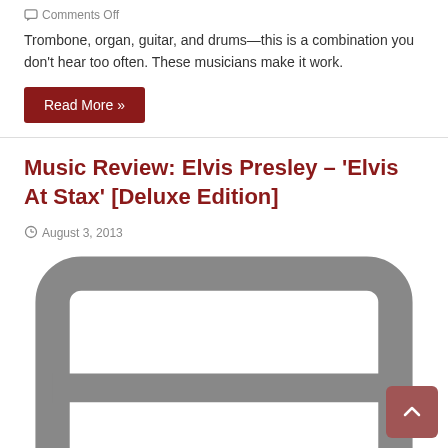Comments Off
Trombone, organ, guitar, and drums—this is a combination you don't hear too often. These musicians make it work.
Read More »
Music Review: Elvis Presley – 'Elvis At Stax' [Deluxe Edition]
August 3, 2013
Album Reviews, Country and Americana, Music, Music Genres, Reissues, Reviews music, Rock
Comments Off
A good job of presenting Presley's Stax sessions in a manner that makes sense
Read More »
Music Review: Jocelyn Pook – 'Unknown Things'